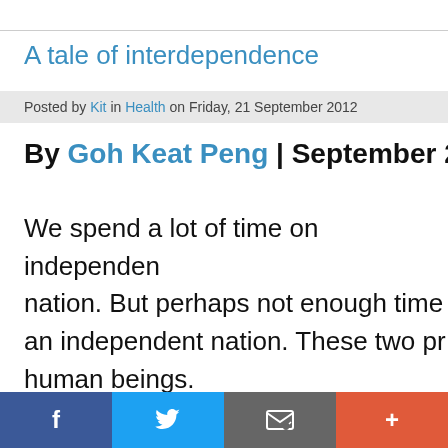A tale of interdependence
Posted by Kit in Health on Friday, 21 September 2012
By Goh Keat Peng | September 20, 2...
We spend a lot of time on independence as a nation. But perhaps not enough time on being an independent nation. These two pr... human beings.
How is Malaysia the only country...